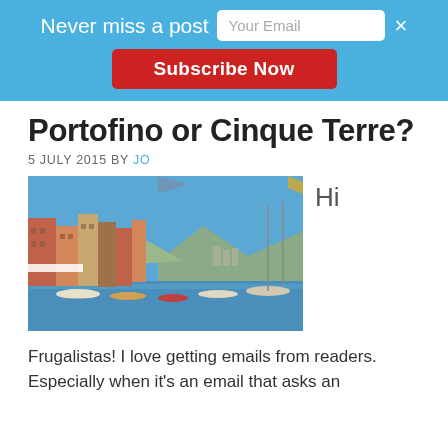Never miss a post
Your Email
Subscribe Now
Portofino or Cinque Terre?
5 JULY 2015 BY JO
[Figure (photo): Harbour scene with colourful Italian buildings, boats moored on calm blue water, mountains in background, blue sky]
Hi
Frugalistas!  I love getting emails from readers. Especially when it's an email that asks an important question like Cinque Terre...